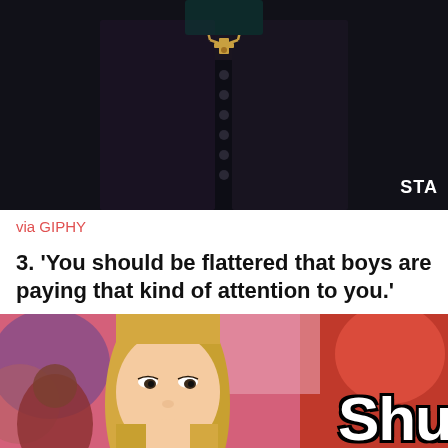[Figure (photo): A person wearing a dark black Victorian-style buttoned vest/jacket with a gold cross necklace, against a dark background. A 'STA' watermark is visible in the lower right.]
via GIPHY
3. 'You should be flattered that boys are paying that kind of attention to you.'
[Figure (photo): A blonde woman from the movie Mean Girls looking unimpressed, with the partial text 'Shu' visible in large white bold letters on the right side of the image, against a red background.]